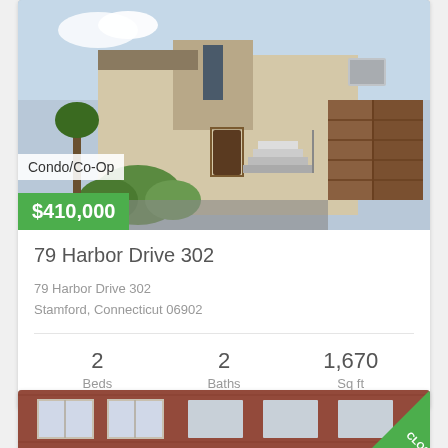[Figure (photo): Exterior photo of a beige stucco condo/townhouse with brown garage doors and exterior staircase]
Condo/Co-Op
$410,000
79 Harbor Drive 302
79 Harbor Drive 302
Stamford, Connecticut 06902
2 Beds  2 Baths  1,670 Sq ft
[Figure (photo): Exterior photo of a red brick apartment building with CLOSED ribbon banner in corner]